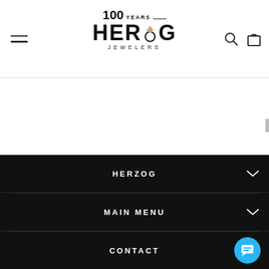[Figure (logo): Herzog Jewelers logo with '100 YEARS' text above and a diamond ring icon within the wordmark HERZOG, with JEWELERS below]
Herzog Jewelers website header with hamburger menu, logo, search and cart icons
HERZOG
MAIN MENU
CONTACT
HERZOG | MAIN MENU | CONTACT footer navigation